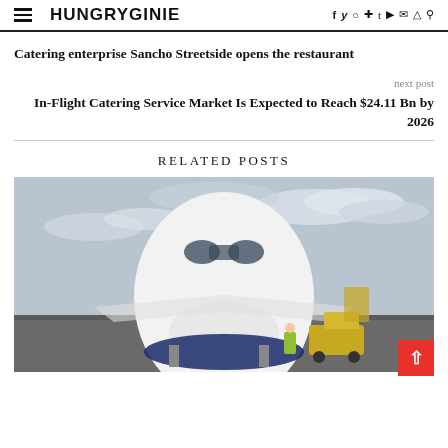HUNGRYGINIE
Catering enterprise Sancho Streetside opens the restaurant
next post
In-Flight Catering Service Market Is Expected to Reach $24.11 Bn by 2026
RELATED POSTS
[Figure (photo): Front view of a commercial airplane on tarmac with ground crew visible, cloudy sky background]